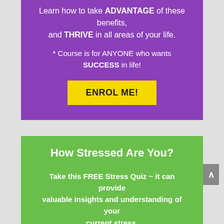Learn how to take ADVANTAGE of these benefits, and THRIVE in all areas of your life.
* Course is for ANYONE who wants SUCCESS in life!
ENROL ME!
How Stressed Are You?
Take this FREE Stress Quiz ~ it can provide valuable insights and understanding of your current stress.
Become empowered by 10 simple questions ~ you maybe surprised!